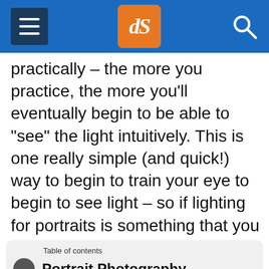dPS
practically – the more you practice, the more you’ll eventually begin to be able to “see” the light intuitively. This is one really simple (and quick!) way to begin to train your eye to begin to see light – so if lighting for portraits is something that you tend to struggle with, grab a friend and give it a try!
Table of contents
Portrait Photography
GENERAL